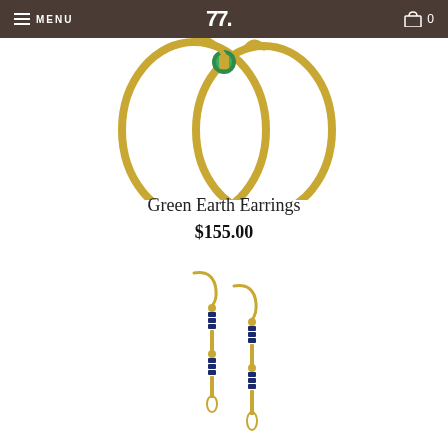MENU | [Logo] | Cart 0
[Figure (photo): Gold hoop earrings with a green gemstone bead accent, photographed on white background]
Green Earth Earrings
$155.00
[Figure (photo): Gold dangle/drop earrings with navy blue beads and gold bar segments, two earrings shown side by side on white background]